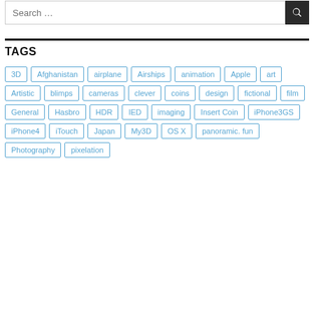Search …
TAGS
3D
Afghanistan
airplane
Airships
animation
Apple
art
Artistic
blimps
cameras
clever
coins
design
fictional
film
General
Hasbro
HDR
IED
imaging
Insert Coin
iPhone3GS
iPhone4
iTouch
Japan
My3D
OS X
panoramic. fun
Photography
pixelation